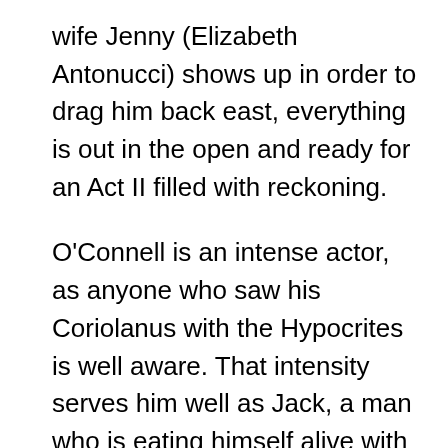wife Jenny (Elizabeth Antonucci) shows up in order to drag him back east, everything is out in the open and ready for an Act II filled with reckoning.
O'Connell is an intense actor, as anyone who saw his Coriolanus with the Hypocrites is well aware. That intensity serves him well as Jack, a man who is eating himself alive with self-loathing and guilt and heartbreak. It occasionally can go over the top (like in the opening scene) but for the most part O'Connell provides Gerace's production with a swaggering, live-wire sun around which the rest of the characters can orbit. Tate provides